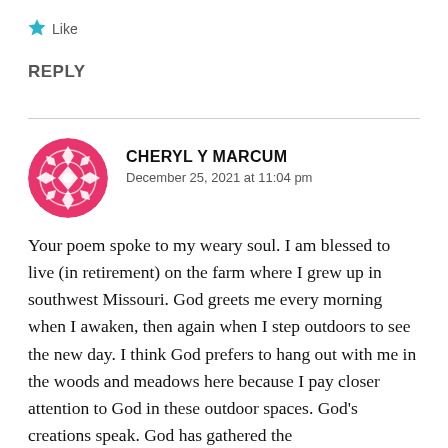★ Like
REPLY
CHERYL Y MARCUM
December 25, 2021 at 11:04 pm
Your poem spoke to my weary soul. I am blessed to live (in retirement) on the farm where I grew up in southwest Missouri. God greets me every morning when I awaken, then again when I step outdoors to see the new day. I think God prefers to hang out with me in the woods and meadows here because I pay closer attention to God in these outdoor spaces. God's creations speak. God has gathered the...